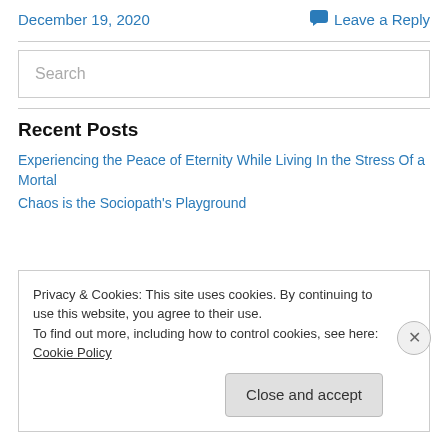December 19, 2020     Leave a Reply
Search
Recent Posts
Experiencing the Peace of Eternity While Living In the Stress Of a Mortal
Chaos is the Sociopath's Playground
Privacy & Cookies: This site uses cookies. By continuing to use this website, you agree to their use.
To find out more, including how to control cookies, see here: Cookie Policy
Close and accept